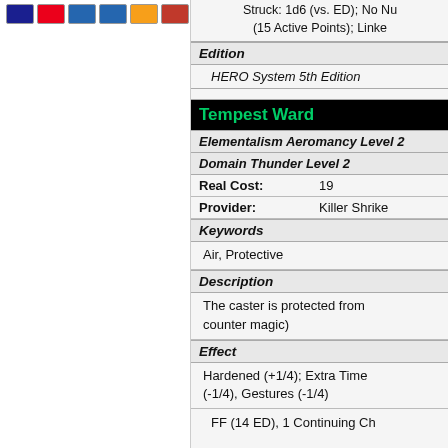[Figure (other): Payment method icons: Visa, Mastercard, Diners Club, American Express, Discover, and another card]
Struck: 1d6 (vs. ED); No Nu (15 Active Points); Linke
Edition
HERO System 5th Edition
Tempest Ward
Elementalism Aeromancy Level 2
Domain Thunder Level 2
Real Cost: 19
Provider: Killer Shrike
Keywords
Air, Protective
Description
The caster is protected from counter magic)
Effect
Hardened (+1/4); Extra Time (-1/4), Gestures (-1/4)
FF (14 ED), 1 Continuing Ch